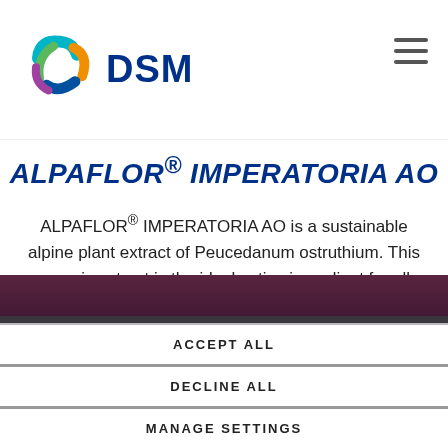[Figure (logo): DSM company logo with colorful swirl icon and blue DSM text]
ALPAFLOR® IMPERATORIA AO
ALPAFLOR® IMPERATORIA AO is a sustainable alpine plant extract of Peucedanum ostruthium. This organic extract is the ideal active ingredient for all types of skin regenerating formulations. This bioactive is ECOCERT COSMOS and NATRUE organic certified, and
Cookies are important to the proper functioning of a site. To improve your experience, we use cookies to remember log-in details and provide secure log-in, collect statistics to optimize site functionality, and deliver content tailored to your interests. You may choose to consent to our use of these technologies, or manage your own preferences.
Privacy
ACCEPT ALL
DECLINE ALL
MANAGE SETTINGS